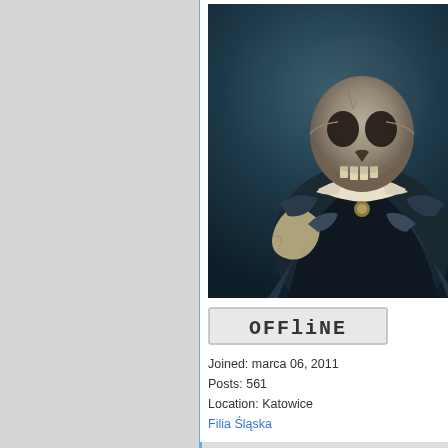[Figure (illustration): Avatar image showing a dark fantasy skeleton/undead warrior holding something, dark blue-green tones]
[Figure (other): OFFLINE badge in typewriter/monospace style font]
Joined: marca 06, 2011
Posts: 561
Location: Katowice
Filia Śląska
Back to top
Za to moja żona po po...
Więc trochę się modeli...
diariuszrpg.blogspot.co...
Kadzik
Świadomy
[Figure (logo): AZYLIUM logo in mixed typewriter/grunge font style]
[Figure (other): OFFLINE badge in typewriter/monospace style font]
Joined: marca 07, 2011
Posts: 441
Location: Warszawa
Filia Mazowiecka
Post subject: Re: [Galer...
Posted: Pn sierp 14, 2011 0...
Żona sama wciągnęła s...
Infy przypadły jej nawe...
Let's start a war. Start a...
Wow!
At the gay bar!